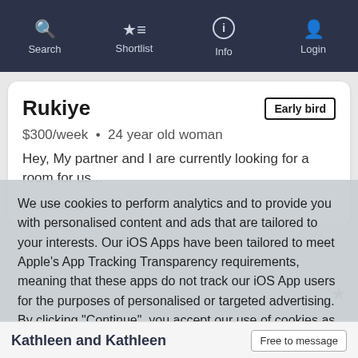Search  Shortlist  Info  Login
Rukiye
$300/week  •  24 year old woman
Hey, My partner and I are currently looking for a room for us...
Available Now
We use cookies to perform analytics and to provide you with personalised content and ads that are tailored to your interests. Our iOS Apps have been tailored to meet Apple's App Tracking Transparency requirements, meaning that these apps do not track our iOS App users for the purposes of personalised or targeted advertising. By clicking "Continue", you accept our use of cookies as outlined in our Cookie Policy.
Continue
Kathleen and Kathleen
Free to message